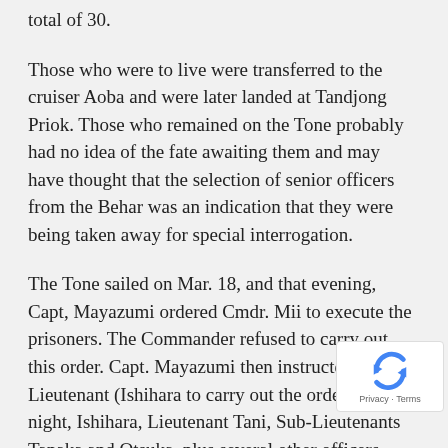total of 30.
Those who were to live were transferred to the cruiser Aoba and were later landed at Tandjong Priok. Those who remained on the Tone probably had no idea of the fate awaiting them and may have thought that the selection of senior officers from the Behar was an indication that they were being taken away for special interrogation.
The Tone sailed on Mar. 18, and that evening, Capt, Mayazumi ordered Cmdr. Mii to execute the prisoners. The Commander refused to carry out this order. Capt. Mayazumi then instructed a Lieutenant (Ishihara to carry out the order. That night, Ishihara, Lieutenant Tani, Sub-Lieutenants Tanaka and Otsuka, plus several other officers, lined the prisoners up on deck. Each prisoner was felled by a blow to the stomach and kicked in the testicles before he was beheaded. Meanwhile, the